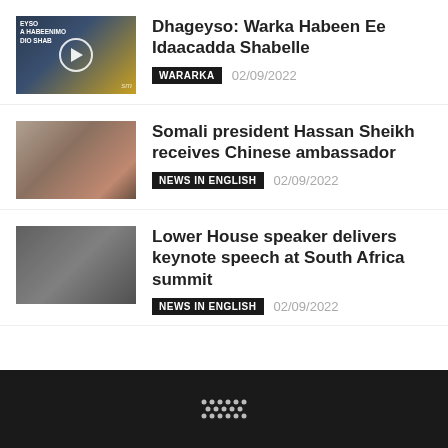Dhageyso: Warka Habeen Ee Idaacadda Shabelle | WARARKA | 02/09/2022
Somali president Hassan Sheikh receives Chinese ambassador | NEWS IN ENGLISH | 02/09/2022
Lower House speaker delivers keynote speech at South Africa summit | NEWS IN ENGLISH | 02/09/2022
[Figure (logo): Shabelle Media Network footer logo (dot grid pattern)]